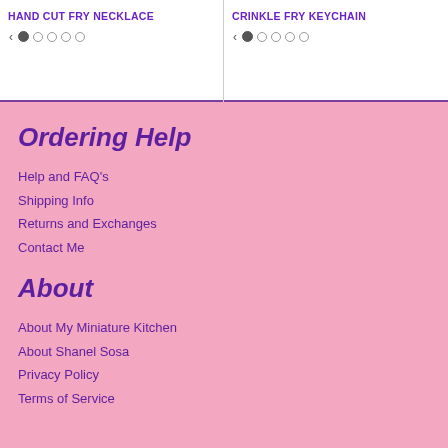HAND CUT FRY NECKLACE
CRINKLE FRY KEYCHAIN
Ordering Help
Help and FAQ's
Shipping Info
Returns and Exchanges
Contact Me
About
About My Miniature Kitchen
About Shanel Sosa
Privacy Policy
Terms of Service